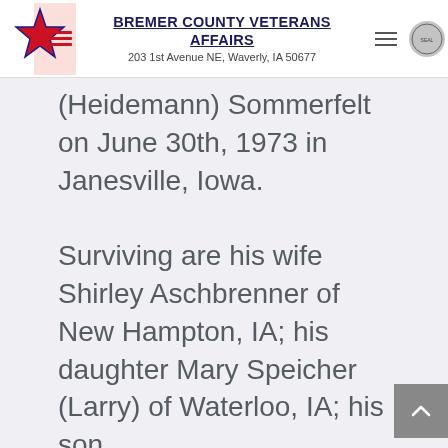BREMER COUNTY VETERANS AFFAIRS
203 1st Avenue NE, Waverly, IA 50677
(Heidemann) Sommerfelt on June 30th, 1973 in Janesville, Iowa.

Surviving are his wife Shirley Aschbrenner of New Hampton, IA; his daughter Mary Speicher (Larry) of Waterloo, IA; his son